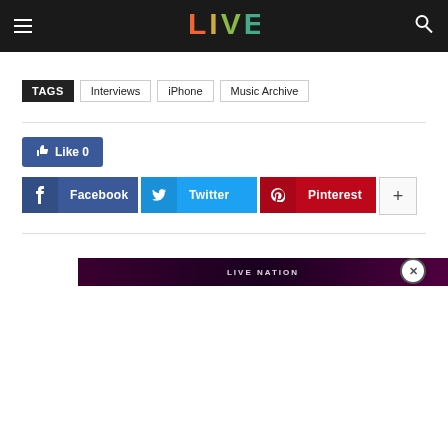LIVE
TAGS  Interviews  iPhone  Music Archive
[Figure (screenshot): Social sharing buttons: Like 0 (Facebook like), Facebook, Twitter, Pinterest, and a plus button]
[Figure (screenshot): Advertisement banner showing LIVE NATION branding on dark background with close button]